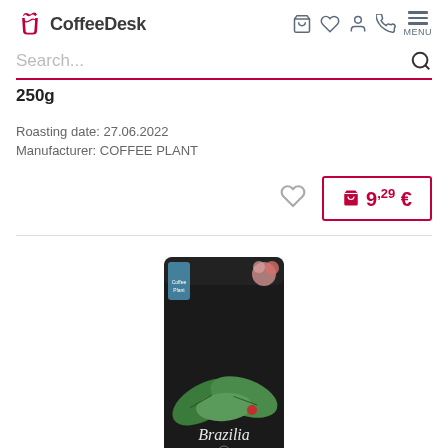CoffeeDesk
Search...
250g
Roasting date: 27.06.2022
Manufacturer: COFFEE PLANT
9,29 €
[Figure (photo): Black coffee bag with green leaf illustration and 'Brazilia' text, Coffee Plant brand]